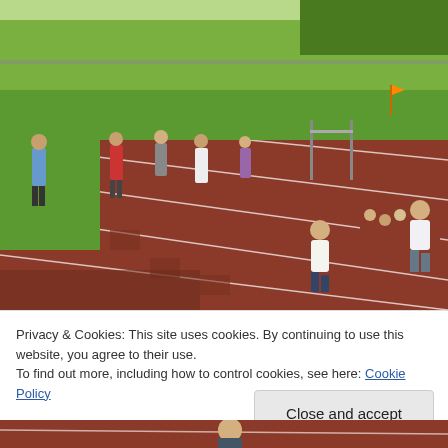[Figure (photo): Children running on a red track at a school track and field event. Multiple kids and adults visible along the track lanes, green grass field and bleachers in background.]
Privacy & Cookies: This site uses cookies. By continuing to use this website, you agree to their use.
To find out more, including how to control cookies, see here: Cookie Policy
Close and accept
[Figure (photo): Partial view of a person on a red running track, bottom strip of image.]